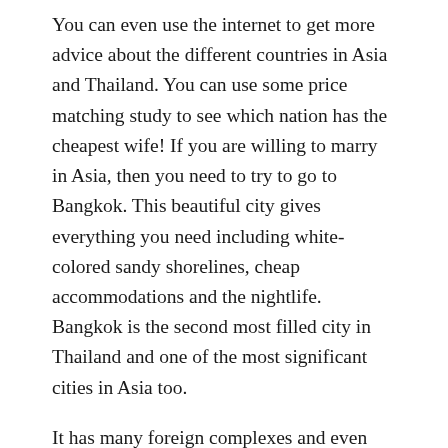You can even use the internet to get more advice about the different countries in Asia and Thailand. You can use some price matching study to see which nation has the cheapest wife! If you are willing to marry in Asia, then you need to try to go to Bangkok. This beautiful city gives everything you need including white-colored sandy shorelines, cheap accommodations and the nightlife. Bangkok is the second most filled city in Thailand and one of the most significant cities in Asia too.
It has many foreign complexes and even sporting clubs. The nightlife in Bangkok is very interesting and many people actually migrate from the other Asian countries just to enjoy the night life of Bangkok. Consequently when you are ready to select the perfect wife for yourself from Asia, think and consider how you can marry in the country.
While you are ready to decide on a woman for everyone